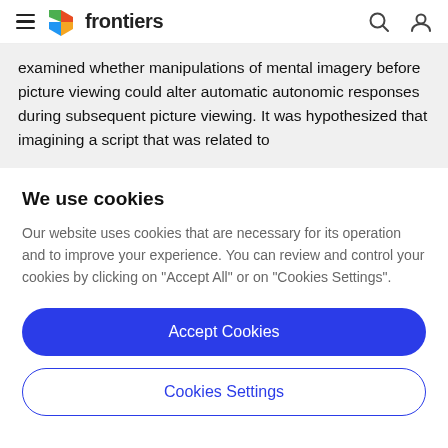frontiers
examined whether manipulations of mental imagery before picture viewing could alter automatic autonomic responses during subsequent picture viewing. It was hypothesized that imagining a script that was related to
We use cookies
Our website uses cookies that are necessary for its operation and to improve your experience. You can review and control your cookies by clicking on "Accept All" or on "Cookies Settings".
Accept Cookies
Cookies Settings